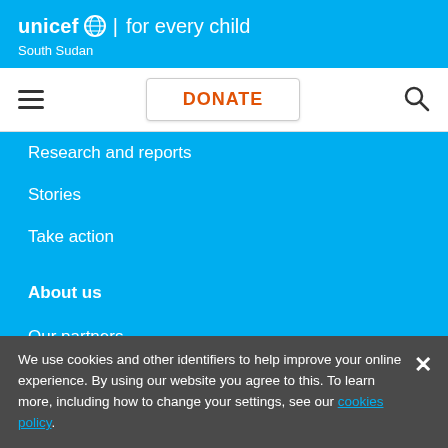unicef for every child — South Sudan
[Figure (screenshot): UNICEF navigation bar with hamburger menu, DONATE button, and search icon]
Research and reports
Stories
Take action
About us
Our partners
Work for UNICEF
Contact us
We use cookies and other identifiers to help improve your online experience. By using our website you agree to this. To learn more, including how to change your settings, see our cookies policy.